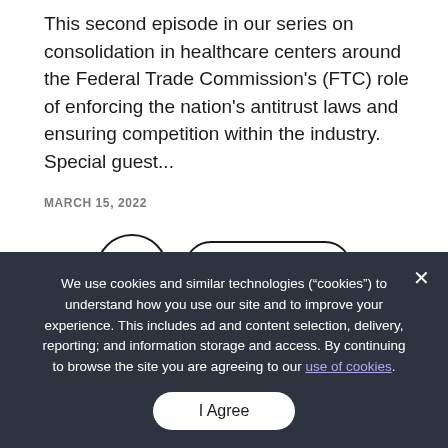This second episode in our series on consolidation in healthcare centers around the Federal Trade Commission's (FTC) role of enforcing the nation's antitrust laws and ensuring competition within the industry. Special guest...
MARCH 15, 2022
[Figure (other): Play button (circle with triangle) and Read More button (pill-shaped)]
We use cookies and similar technologies (“cookies”) to understand how you use our site and to improve your experience. This includes ad and content selection, delivery, reporting; and information storage and access. By continuing to browse the site you are agreeing to our use of cookies.
I Agree